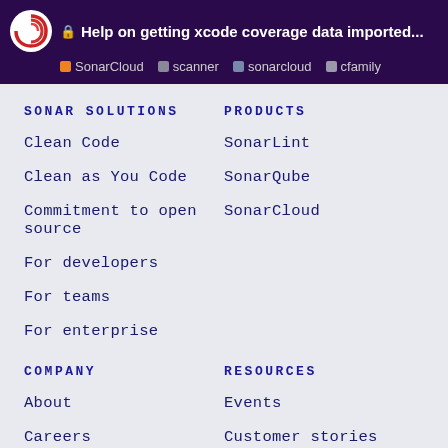🔒 Help on getting xcode coverage data imported... SonarCloud scanner sonarcloud cfamily
SONAR SOLUTIONS
Clean Code
Clean as You Code
Commitment to open source
For developers
For teams
For enterprise
PRODUCTS
SonarLint
SonarQube
SonarCloud
COMPANY
About
Careers
RESOURCES
Events
Customer stories